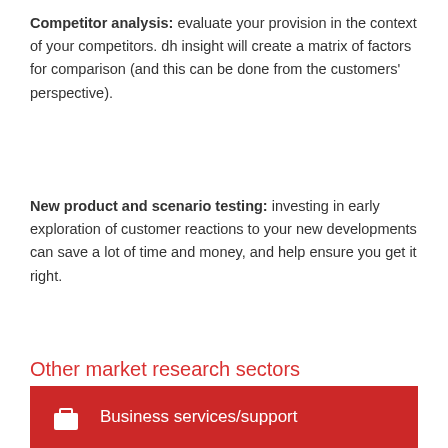Competitor analysis: evaluate your provision in the context of your competitors. dh insight will create a matrix of factors for comparison (and this can be done from the customers' perspective).
New product and scenario testing: investing in early exploration of customer reactions to your new developments can save a lot of time and money, and help ensure you get it right.
Other market research sectors
Business services/support